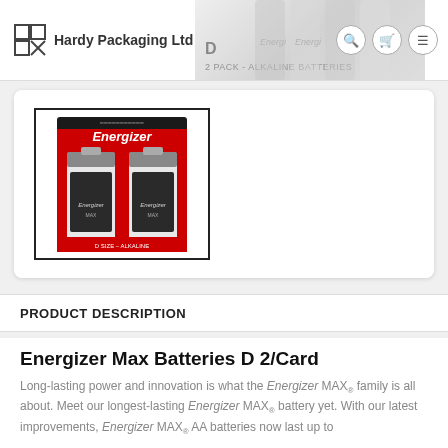Hardy Packaging Ltd
[Figure (photo): Energizer Max D batteries 2/Card product package photo showing two D-size batteries in red and black packaging with Energizer branding]
PRODUCT DESCRIPTION
Energizer Max Batteries D 2/Card
Long-lasting power and innovation is what the Energizer MAX® family is all about. Meet our longest-lasting Energizer MAX® battery yet. With our latest improvements, Energizer MAX® AA batteries now last up to